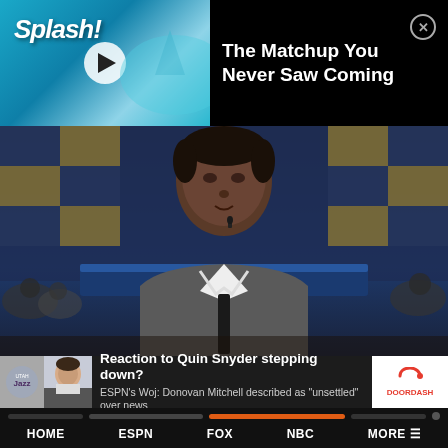[Figure (screenshot): Video thumbnail showing ESPN Splash screen with shark/ocean imagery and play button]
The Matchup You Never Saw Coming
[Figure (screenshot): ESPN First Take broadcast showing anchor/analyst in gray suit sitting at desk with yellow/blue arena background. Lower-third ticker bar visible.]
Reaction to Quin Snyder stepping down?
ESPN's Woj: Donovan Mitchell described as "unsettled" over news
HOME   ESPN   FOX   NBC   MORE